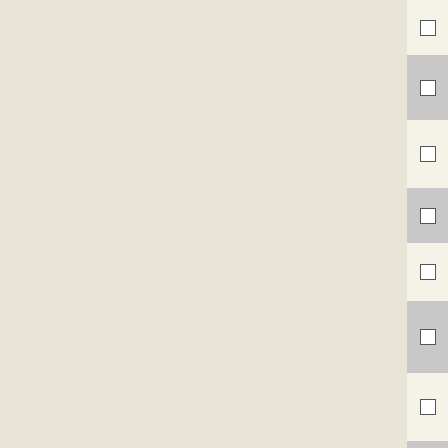|  | NC accession | Gene | Description |
| --- | --- | --- | --- |
| ☐ | NC_012034 | Athe_1029 | integrase |
| ☐ | NC_013525 | Tter_0923 | integrase |
| ☐ | NC_002936 | DET0883 | phage integrase/site-specific recombinase |
| ☐ | NC_013510 | Tcur_0039 | integrase |
| ☐ | NC_012034 | Athe_2026 | integrase |
| ☐ | NC_011658 | BCAH187_A4036 | prophage site-specific recombinase integrase |
| ☐ | NC_013205 | Aaci_1062 | integrase |
| ☐ | NC_013521 | Sked_28710 | site-specific recombinase |
| ☐ | NC_014393 | Ccel_3093 | integrase |